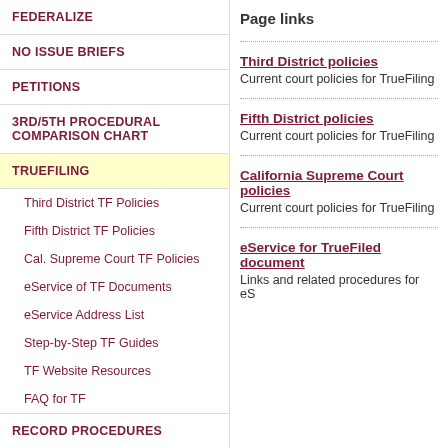FEDERALIZE
NO ISSUE BRIEFS
PETITIONS
3RD/5TH PROCEDURAL COMPARISON CHART
TRUEFILING
Third District TF Policies
Fifth District TF Policies
Cal. Supreme Court TF Policies
eService of TF Documents
eService Address List
Step-by-Step TF Guides
TF Website Resources
FAQ for TF
RECORD PROCEDURES
STARTING AN APPEAL
Page links
Third District policies
Current court policies for TrueFiling
Fifth District policies
Current court policies for TrueFiling
California Supreme Court policies
Current court policies for TrueFiling
eService for TrueFiled documents
Links and related procedures for eS